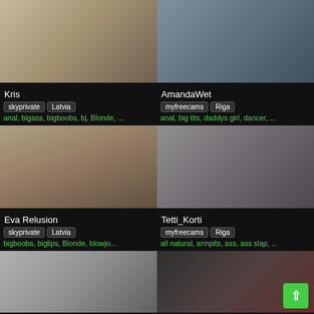[Figure (photo): Blonde woman lying on bed]
Kris
skyprivate  Latvia
anal, bigass, bigboobs, bj, Blonde, ...
[Figure (photo): Woman with dark hair close-up with mouth piece]
AmandaWet
myfreecams  Riga
anal, big tits, daddys girl, dancer, ...
[Figure (photo): Blonde woman in black bra]
Eva Relusion
skyprivate  Latvia
bigboobs, biglips, Blonde, blowjo...
[Figure (photo): Dark haired woman posing]
Tetti_Korti
myfreecams  Riga
all natural, armpits, ass, ass slap, ...
[Figure (photo): Woman in fishnet dress on sofa]
[Figure (photo): Redhead woman in red outfit]